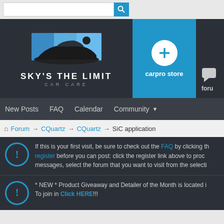[Figure (screenshot): Search bar with blue search button icon]
[Figure (logo): Sky's The Limit Car Care logo with car silhouette on dark background]
[Figure (illustration): CarPro store button - blue tile with white plus circle and label 'carpro store']
[Figure (illustration): Forum button - partially visible dark tile with speech bubble icon and label 'forum']
New Posts  FAQ  Calendar  Community ▼
Forum → CQuartz → CQuartz → SiC application
If this is your first visit, be sure to check out the FAQ by clicking th... register before you can post: click the register link above to proc... messages, select the forum that you want to visit from the selecti...
* NEW * Product Giveaway and Detailer of the Month is located i... To join in Click HERE!!!